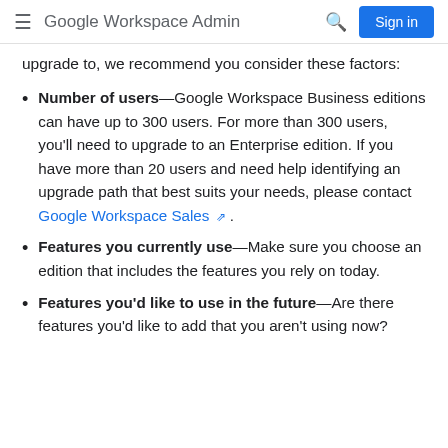Google Workspace Admin — Sign in
upgrade to, we recommend you consider these factors:
Number of users—Google Workspace Business editions can have up to 300 users. For more than 300 users, you'll need to upgrade to an Enterprise edition. If you have more than 20 users and need help identifying an upgrade path that best suits your needs, please contact Google Workspace Sales .
Features you currently use—Make sure you choose an edition that includes the features you rely on today.
Features you'd like to use in the future—Are there features you'd like to add that you aren't using now?